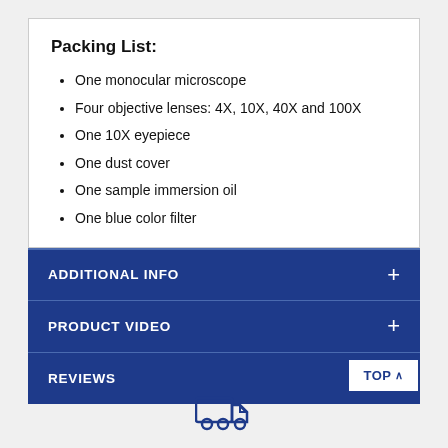Packing List:
One monocular microscope
Four objective lenses: 4X, 10X, 40X and 100X
One 10X eyepiece
One dust cover
One sample immersion oil
One blue color filter
ADDITIONAL INFO
PRODUCT VIDEO
REVIEWS
[Figure (illustration): Truck/delivery icon in dark blue]